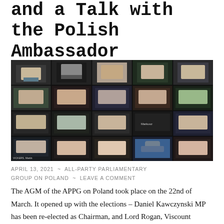and a Talk with the Polish Ambassador
[Figure (photo): Screenshot of a video conference call showing multiple participants in a grid layout, resembling a Zoom or Teams meeting with approximately 16 participants visible.]
APRIL 13, 2021  ~  ALL-PARTY PARLIAMENTARY GROUP ON POLAND  ~  LEAVE A COMMENT
The AGM of the APPG on Poland took place on the 22nd of March. It opened up with the elections – Daniel Kawczynski MP has been re-elected as Chairman, and Lord Rogan, Viscount Waverley, Sir Jeffrey Donaldson, Martin Vickers,